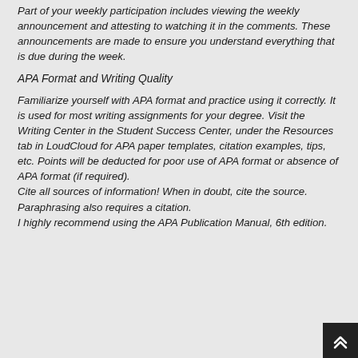Part of your weekly participation includes viewing the weekly announcement and attesting to watching it in the comments. These announcements are made to ensure you understand everything that is due during the week.
APA Format and Writing Quality
Familiarize yourself with APA format and practice using it correctly. It is used for most writing assignments for your degree. Visit the Writing Center in the Student Success Center, under the Resources tab in LoudCloud for APA paper templates, citation examples, tips, etc. Points will be deducted for poor use of APA format or absence of APA format (if required). Cite all sources of information! When in doubt, cite the source. Paraphrasing also requires a citation. I highly recommend using the APA Publication Manual, 6th edition.